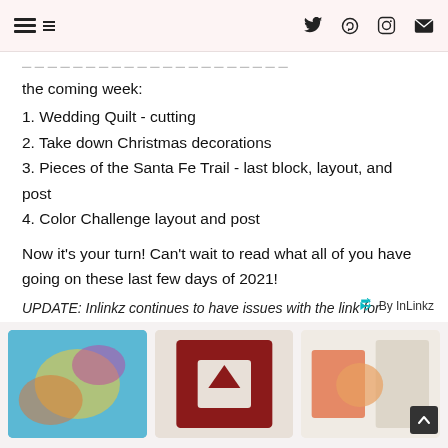[Navigation/hamburger icon] [Twitter] [Pinterest] [Instagram] [Email]
the coming week:
1. Wedding Quilt - cutting
2. Take down Christmas decorations
3. Pieces of the Santa Fe Trail - last block, layout, and post
4. Color Challenge layout and post
Now it's your turn! Can't wait to read what all of you have going on these last few days of 2021!
UPDATE: Inlinkz continues to have issues with the link for Marsha's blog, so I will provide it right here. Go give her some encouragement and blog love, since her daughter is in the hospital!
By InLinkz
[Figure (photo): Three thumbnail images at the bottom of a blog post, showing quilting/craft projects.]